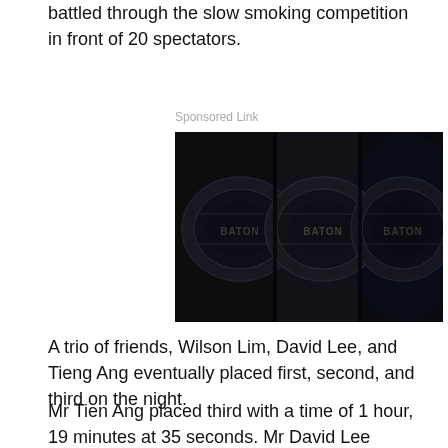battled through the slow smoking competition in front of 20 spectators.
Sponsored Link
[Figure (photo): Three dark cigars with BATON brand labels visible, photographed in very low light against a dark background.]
A trio of friends, Wilson Lim, David Lee, and Tieng Ang eventually placed first, second, and third on the night.
Mr Tien Ang placed third with a time of 1 hour, 19 minutes at 35 seconds. Mr David Lee chose not to pursue first place